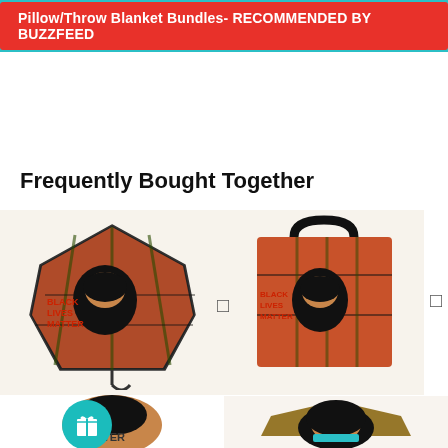Pillow/Throw Blanket Bundles- RECOMMENDED BY BUZZFEED
Frequently Bought Together
[Figure (photo): Black Lives Matter themed umbrella with illustrated couple, top left product]
[Figure (photo): Black Lives Matter themed tote bag with illustrated couple, top right product]
[Figure (photo): Black woman with crown illustration on umbrella, bottom left product with teal gift badge]
[Figure (photo): Afro natural hair woman illustration on umbrella, bottom right product]